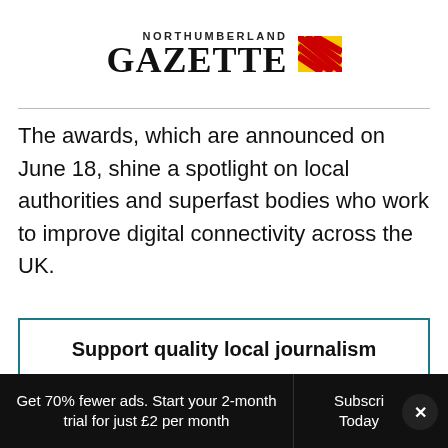NORTHUMBERLAND GAZETTE
The awards, which are announced on June 18, shine a spotlight on local authorities and superfast bodies who work to improve digital connectivity across the UK.
Support quality local journalism
Subscribe today and see 70% fewer ads. Try our 2-month trial - just £2 per month.
Subscribe today
Get 70% fewer ads. Start your 2-month trial for just £2 per month
Subscribe Today